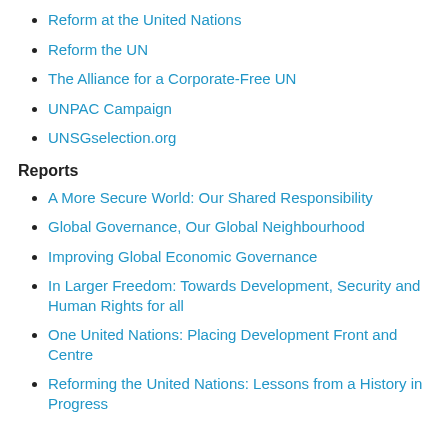Reform at the United Nations
Reform the UN
The Alliance for a Corporate-Free UN
UNPAC Campaign
UNSGselection.org
Reports
A More Secure World: Our Shared Responsibility
Global Governance, Our Global Neighbourhood
Improving Global Economic Governance
In Larger Freedom: Towards Development, Security and Human Rights for all
One United Nations: Placing Development Front and Centre
Reforming the United Nations: Lessons from a History in Progress